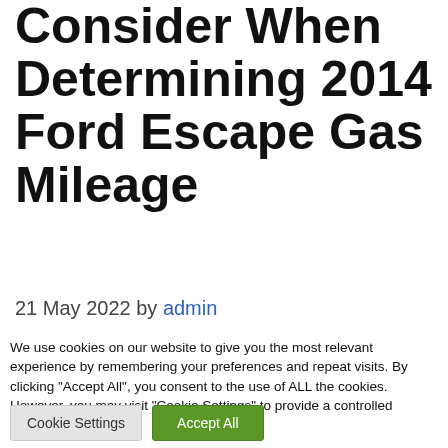Consider When Determining 2014 Ford Escape Gas Mileage
21 May 2022 by admin
[Figure (photo): Horizontal image strip showing partial views of what appears to be a Ford Escape vehicle interior and exterior details]
We use cookies on our website to give you the most relevant experience by remembering your preferences and repeat visits. By clicking “Accept All”, you consent to the use of ALL the cookies. However, you may visit "Cookie Settings" to provide a controlled consent.
Cookie Settings | Accept All